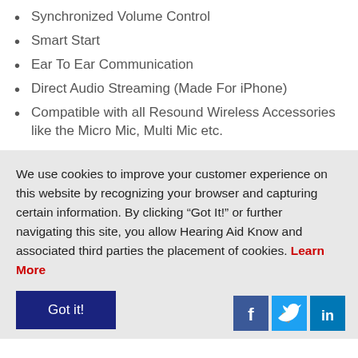Synchronized Volume Control
Smart Start
Ear To Ear Communication
Direct Audio Streaming (Made For iPhone)
Compatible with all Resound Wireless Accessories like the Micro Mic, Multi Mic etc.
We use cookies to improve your customer experience on this website by recognizing your browser and capturing certain information. By clicking “Got It!” or further navigating this site, you allow Hearing Aid Know and associated third parties the placement of cookies. Learn More
Got it!